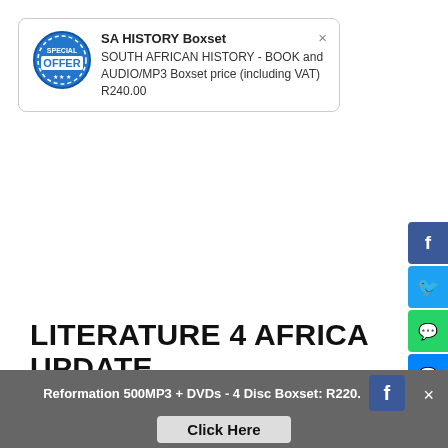[Figure (infographic): Popup ad box with offer badge showing SA HISTORY Boxset - SOUTH AFRICAN HISTORY - BOOK and AUDIO/MP3 Boxset price (including VAT) R240.00]
SA HISTORY Boxset
SOUTH AFRICAN HISTORY - BOOK and AUDIO/MP3 Boxset price (including VAT) R240.00
LITERATURE 4 AFRICA UPDATE
19/6/2015
0 Comments
[Figure (photo): Nighttime photo of a large truck/shipping container with a forklift operator loading in the dark]
Reformation 500MP3 + DVDs - 4 Disc Boxset: R220.
Click Here